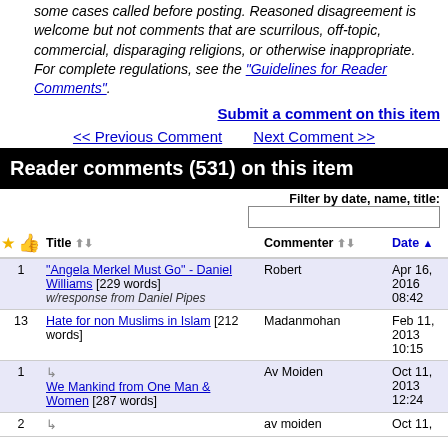Some cases called before posting. Reasoned disagreement is welcome but not comments that are scurrilous, off-topic, commercial, disparaging religions, or otherwise inappropriate. For complete regulations, see the "Guidelines for Reader Comments".
Submit a comment on this item
<< Previous Comment   Next Comment >>
Reader comments (531) on this item
Filter by date, name, title:
| * | Title | Commenter | Date |
| --- | --- | --- | --- |
| 1 | "Angela Merkel Must Go" - Daniel Williams [229 words] w/response from Daniel Pipes | Robert | Apr 16, 2016 08:42 |
| 13 | Hate for non Muslims in Islam [212 words] | Madanmohan | Feb 11, 2013 10:15 |
| 1 | ↳ We Mankind from One Man & Women [287 words] | Av Moiden | Oct 11, 2013 12:24 |
| 2 | ↳ | av moiden | Oct 11, |